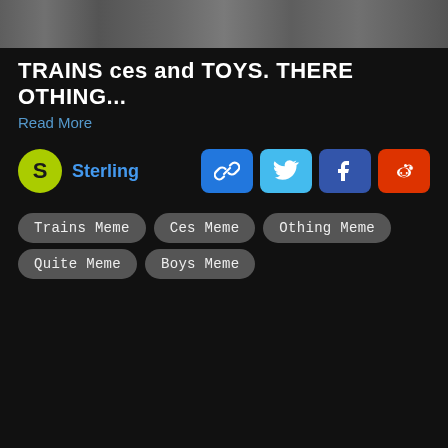[Figure (photo): Dark photo strip at the top of the page showing a blurred/dark background scene]
TRAINS ces and TOYS. THERE OTHING...
Read More
Sterling (author avatar with S initial)
Trains Meme
Ces Meme
Othing Meme
Quite Meme
Boys Meme
Hunger Games
Day 1